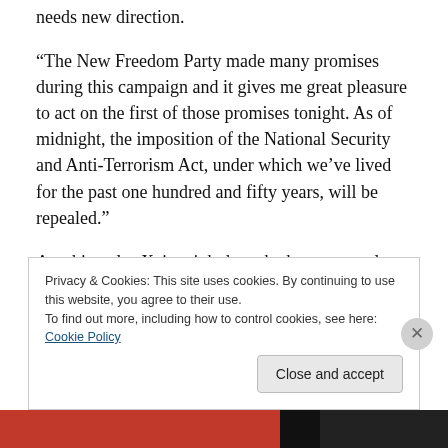needs new direction.
“The New Freedom Party made many promises during this campaign and it gives me great pleasure to act on the first of those promises tonight. As of midnight, the imposition of the National Security and Anti-Terrorism Act, under which we’ve lived for the past one hundred and fifty years, will be repealed.”
Anything else Xaja might have had to say was lost to the roar of the crowd as the import of her words sunk in to the watchers. Thirty minutes later, once the applause and
Privacy & Cookies: This site uses cookies. By continuing to use this website, you agree to their use.
To find out more, including how to control cookies, see here: Cookie Policy
Close and accept